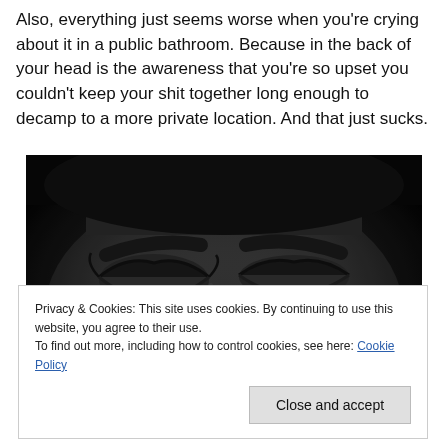Also, everything just seems worse when you're crying about it in a public bathroom. Because in the back of your head is the awareness that you're so upset you couldn't keep your shit together long enough to decamp to a more private location. And that just sucks.
[Figure (photo): Close-up black and white photograph of a person's eyes with teary, swollen appearance — dramatic dark lighting, eyes mostly closed.]
Privacy & Cookies: This site uses cookies. By continuing to use this website, you agree to their use.
To find out more, including how to control cookies, see here: Cookie Policy
Close and accept